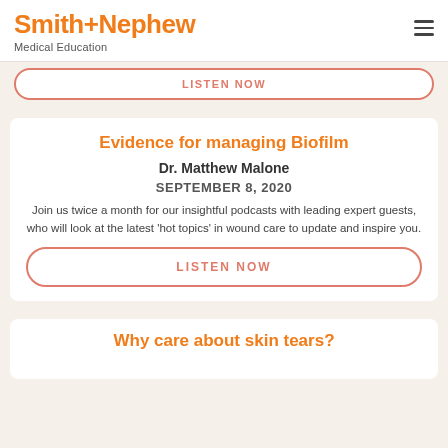Smith+Nephew Medical Education
Evidence for managing Biofilm
Dr. Matthew Malone
SEPTEMBER 8, 2020
Join us twice a month for our insightful podcasts with leading expert guests, who will look at the latest 'hot topics' in wound care to update and inspire you.
LISTEN NOW
Why care about skin tears?